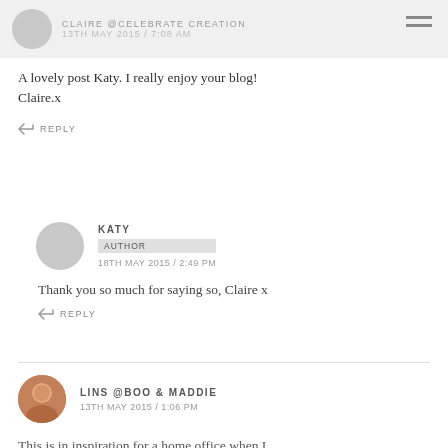CLAIRE @CELEBRATE CREATION
13TH MAY 2015 / 7:08 AM
A lovely post Katy. I really enjoy your blog!
Claire.x
REPLY
KATY
AUTHOR
18TH MAY 2015 / 2:49 PM
Thank you so much for saying so, Claire x
REPLY
LINS @BOO & MADDIE
13TH MAY 2015 / 1:06 PM
This is in inspiration for a home office when I...